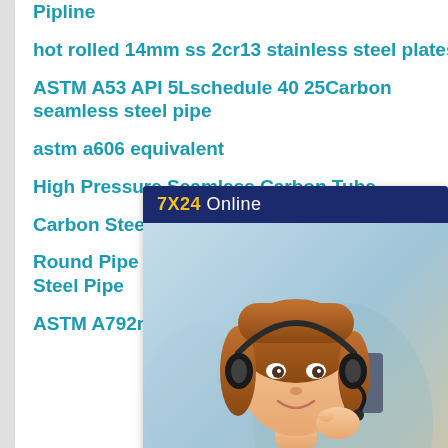Pipline
hot rolled 14mm ss 2cr13 stainless steel plates
ASTM A53 API 5Lschedule 40 25Carbon seamless steel pipe
astm a606 equivalent
High Pressure Seamless Carbon Tube
Carbon Steel Storage Container Chemical
Round Pipe DIN Hot Dipped Galvanized Welded Steel Pipe
ASTM A792m Hot Dipped Zincalume Steel Coil
[Figure (other): Chat widget with 7X24 Online header, customer service representative photo, 'Hello, may I help you?' text, and 'Get Latest Price' button]